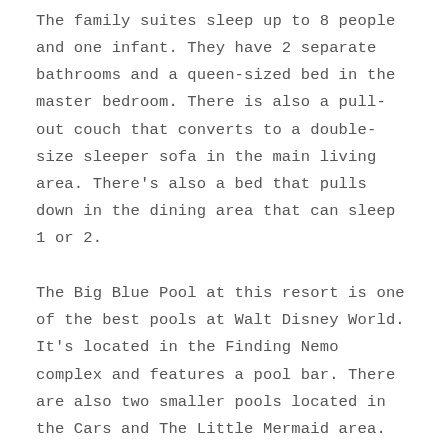The family suites sleep up to 8 people and one infant. They have 2 separate bathrooms and a queen-sized bed in the master bedroom. There is also a pull-out couch that converts to a double-size sleeper sofa in the main living area. There’s also a bed that pulls down in the dining area that can sleep 1 or 2.
The Big Blue Pool at this resort is one of the best pools at Walt Disney World. It’s located in the Finding Nemo complex and features a pool bar. There are also two smaller pools located in the Cars and The Little Mermaid area.